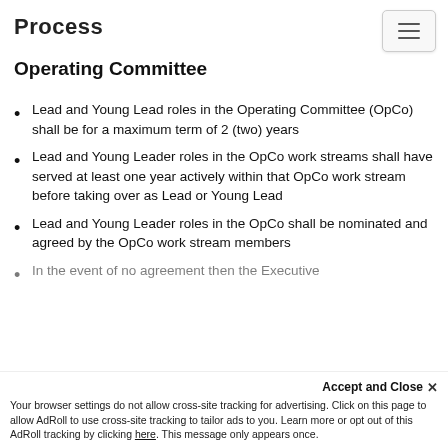Process
Operating Committee
Lead and Young Lead roles in the Operating Committee (OpCo) shall be for a maximum term of 2 (two) years
Lead and Young Leader roles in the OpCo work streams shall have served at least one year actively within that OpCo work stream before taking over as Lead or Young Lead
Lead and Young Leader roles in the OpCo shall be nominated and agreed by the OpCo work stream members
In the event of no agreement then the Executive...
Accept and Close ✕
Your browser settings do not allow cross-site tracking for advertising. Click on this page to allow AdRoll to use cross-site tracking to tailor ads to you. Learn more or opt out of this AdRoll tracking by clicking here. This message only appears once.